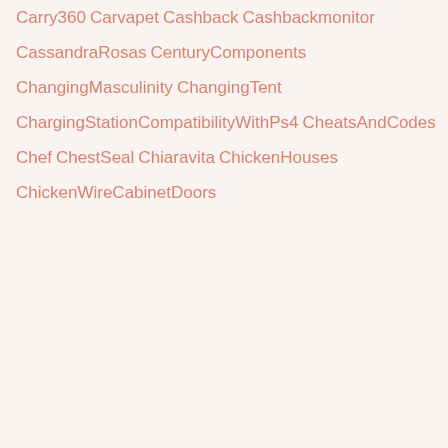Carry360
Carvapet
Cashback
Cashbackmonitor
CassandraRosas
CenturyComponents
ChangingMasculinity
ChangingTent
ChargingStationCompatibilityWithPs4
CheatsAndCodes
Chef
ChestSeal
Chiaravita
ChickenHouses
ChickenWireCabinetDoors